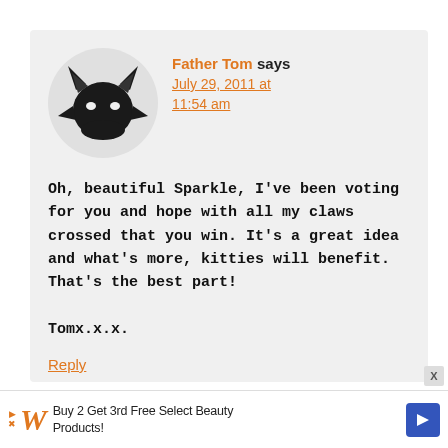[Figure (illustration): Circular avatar with gray background showing a black silhouette of a cartoon devil/demon cat face with horns and a beard]
Father Tom says
July 29, 2011 at 11:54 am
Oh, beautiful Sparkle, I’ve been voting for you and hope with all my claws crossed that you win. It’s a great idea and what’s more, kitties will benefit. That’s the best part!

Tomx.x.x.
Reply
Buy 2 Get 3rd Free Select Beauty Products!